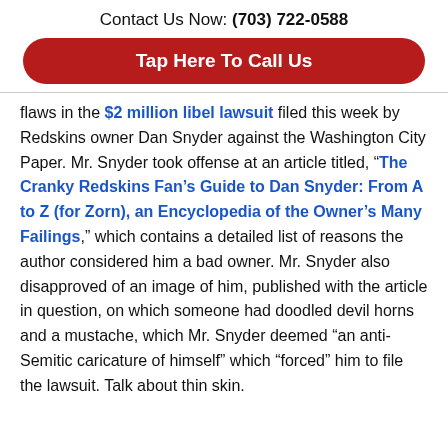Contact Us Now: (703) 722-0588
Tap Here To Call Us
flaws in the $2 million libel lawsuit filed this week by Redskins owner Dan Snyder against the Washington City Paper. Mr. Snyder took offense at an article titled, “The Cranky Redskins Fan’s Guide to Dan Snyder: From A to Z (for Zorn), an Encyclopedia of the Owner’s Many Failings,” which contains a detailed list of reasons the author considered him a bad owner. Mr. Snyder also disapproved of an image of him, published with the article in question, on which someone had doodled devil horns and a mustache, which Mr. Snyder deemed “an anti-Semitic caricature of himself” which “forced” him to file the lawsuit. Talk about thin skin.